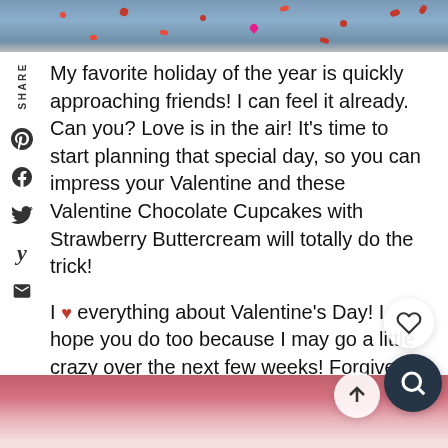[Figure (photo): Top portion of a food blog page showing a blurred photo of Valentine's Day themed background with red candy hearts and sprinkles on a dark surface]
My favorite holiday of the year is quickly approaching friends! I can feel it already. Can you? Love is in the air! It's time to start planning that special day, so you can impress your Valentine and these Valentine Chocolate Cupcakes with Strawberry Buttercream will totally do the trick!
I ♥ everything about Valentine's Day! I hope you do too because I may go a little crazy over the next few weeks! Forgive me! I can't help myself. I'm a romantic at heart!
[Figure (photo): Bottom portion showing a blurred close-up of pink and red Valentine's Day cupcake with strawberry buttercream frosting]